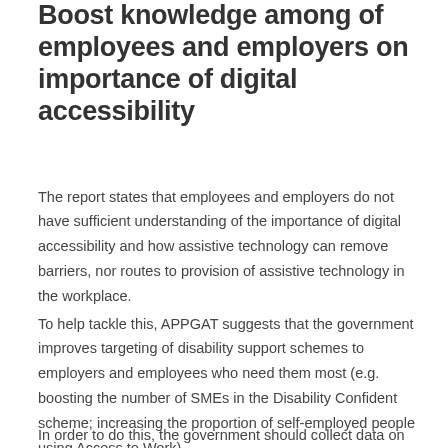Boost knowledge among of employees and employers on importance of digital accessibility
The report states that employees and employers do not have sufficient understanding of the importance of digital accessibility and how assistive technology can remove barriers, nor routes to provision of assistive technology in the workplace.
To help tackle this, APPGAT suggests that the government improves targeting of disability support schemes to employers and employees who need them most (e.g. boosting the number of SMEs in the Disability Confident scheme; increasing the proportion of self-employed people using Access to Work).
In order to do this, the government should collect data on who is participating in these schemes, with consideration for: